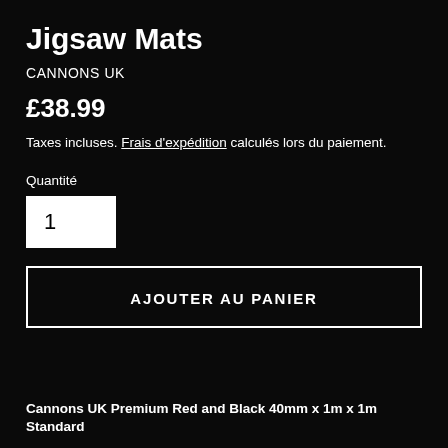Jigsaw Mats
CANNONS UK
£38.99
Taxes incluses. Frais d'expédition calculés lors du paiement.
Quantité
1
AJOUTER AU PANIER
Cannons UK Premium Red and Black 40mm x 1m x 1m Standard